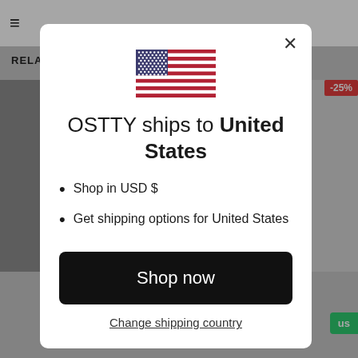[Figure (screenshot): Background of an e-commerce website showing navigation header, RELATED section header, product images, and discount badge]
[Figure (illustration): US flag emoji / icon centered in the modal dialog]
OSTTY ships to United States
Shop in USD $
Get shipping options for United States
Shop now
Change shipping country